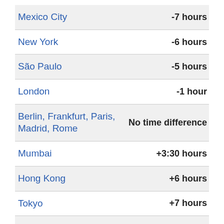| City | Time Difference |
| --- | --- |
| Mexico City | -7 hours |
| New York | -6 hours |
| São Paulo | -5 hours |
| London | -1 hour |
| Berlin, Frankfurt, Paris, Madrid, Rome | No time difference |
| Mumbai | +3:30 hours |
| Hong Kong | +6 hours |
| Tokyo | +7 hours |
| Sydney | +8 hours |